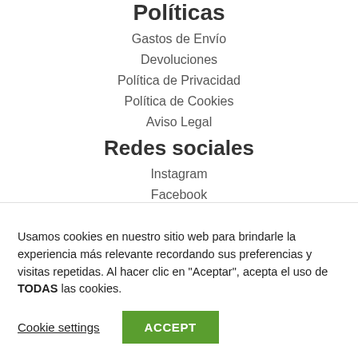Políticas
Gastos de Envío
Devoluciones
Política de Privacidad
Política de Cookies
Aviso Legal
Redes sociales
Instagram
Facebook
Usamos cookies en nuestro sitio web para brindarle la experiencia más relevante recordando sus preferencias y visitas repetidas. Al hacer clic en "Aceptar", acepta el uso de TODAS las cookies.
Cookie settings
ACCEPT